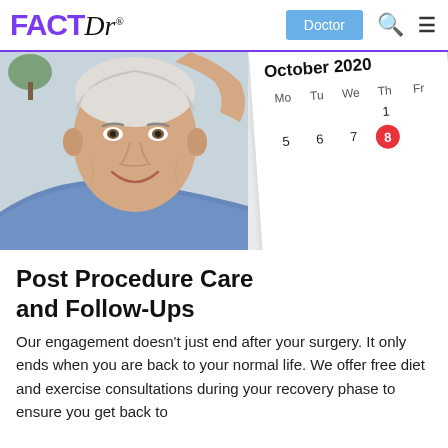FACTDr — Doctor
[Figure (photo): Elderly man smiling, holding a calendar showing October 2020 with the 8th circled in red.]
Post Procedure Care and Follow-Ups
Our engagement doesn't just end after your surgery. It only ends when you are back to your normal life. We offer free diet and exercise consultations during your recovery phase to ensure you get back to